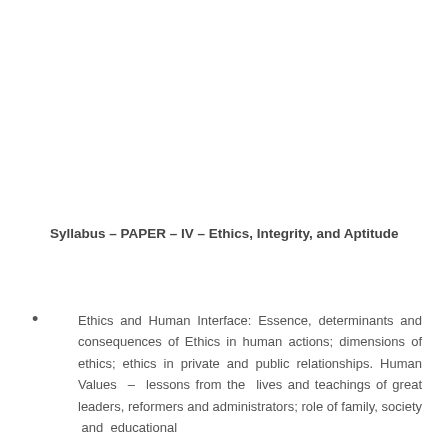Syllabus – PAPER – IV – Ethics, Integrity, and Aptitude
Ethics and Human Interface: Essence, determinants and consequences of Ethics in human actions; dimensions of ethics; ethics in private and public relationships. Human Values – lessons from the lives and teachings of great leaders, reformers and administrators; role of family, society and educational